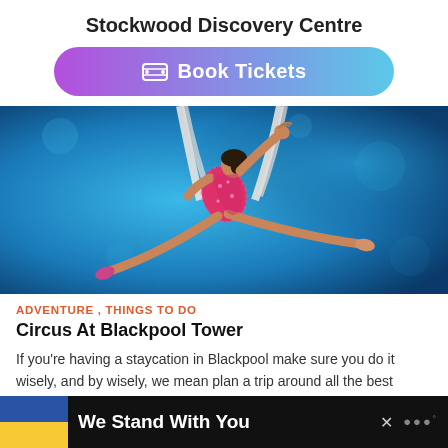Stockwood Discovery Centre
[Figure (other): Book Tickets button with gradient purple to cyan background and ticket icon]
[Figure (photo): An aerialist performer in a pink/magenta sequined costume performing a split on aerial silks against a blue background]
ADVENTURE , THINGS TO DO
Circus At Blackpool Tower
If you're having a staycation in Blackpool make sure you do it wisely, and by wisely, we mean plan a trip around all the best hotspots Blackpool has to offer. Unsure where to start? The...
[Figure (infographic): Bottom banner with Ukrainian flag and text 'We Stand With You' on dark background with close button and dots icon]